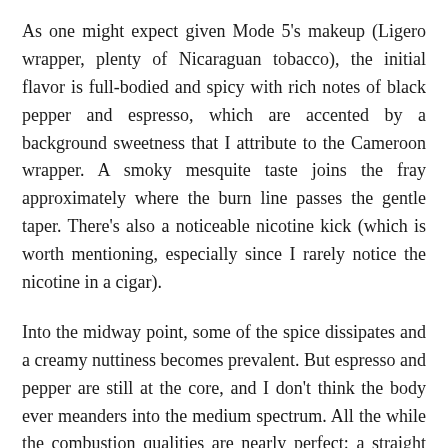As one might expect given Mode 5's makeup (Ligero wrapper, plenty of Nicaraguan tobacco), the initial flavor is full-bodied and spicy with rich notes of black pepper and espresso, which are accented by a background sweetness that I attribute to the Cameroon wrapper. A smoky mesquite taste joins the fray approximately where the burn line passes the gentle taper. There's also a noticeable nicotine kick (which is worth mentioning, especially since I rarely notice the nicotine in a cigar).
Into the midway point, some of the spice dissipates and a creamy nuttiness becomes prevalent. But espresso and pepper are still at the core, and I don't think the body ever meanders into the medium spectrum. All the while the combustion qualities are nearly perfect: a straight burn that only requires a light touch-up here and there, a solid ash, smooth draw, and good smoke production.
I et next think higher. At $7, the Anait is a Mode 5 is...